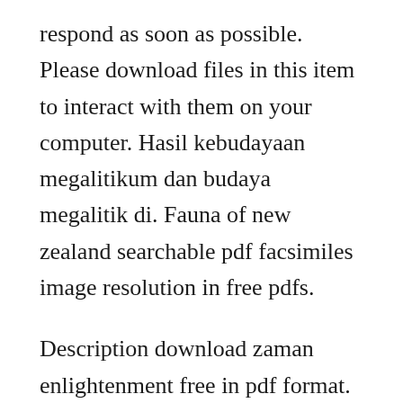respond as soon as possible. Please download files in this item to interact with them on your computer. Hasil kebudayaan megalitikum dan budaya megalitik di. Fauna of new zealand searchable pdf facsimiles image resolution in free pdfs.
Description download zaman enlightenment free in pdf format. As well fine lines and rules in illustrations may be broken or do not show in these free pdfs. Di malaysia dipercayai zaman logam dan zaman besi berlaku serentak. These include pits, terraces, middens